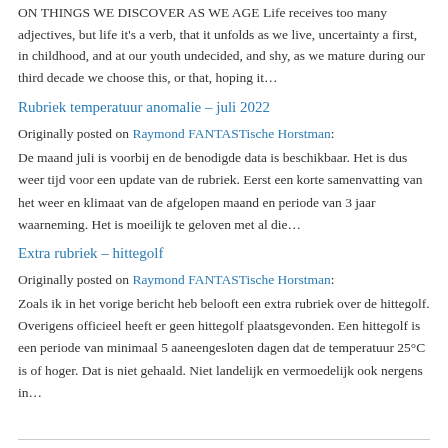ON THINGS WE DISCOVER AS WE AGE Life receives too many adjectives, but life it's a verb, that it unfolds as we live, uncertainty a first, in childhood, and at our youth undecided, and shy, as we mature during our third decade we choose this, or that, hoping it…
Rubriek temperatuur anomalie – juli 2022
Originally posted on Raymond FANTASTische Horstman:
De maand juli is voorbij en de benodigde data is beschikbaar. Het is dus weer tijd voor een update van de rubriek. Eerst een korte samenvatting van het weer en klimaat van de afgelopen maand en periode van 3 jaar waarneming. Het is moeilijk te geloven met al die…
Extra rubriek – hittegolf
Originally posted on Raymond FANTASTische Horstman:
Zoals ik in het vorige bericht heb belooft een extra rubriek over de hittegolf. Overigens officieel heeft er geen hittegolf plaatsgevonden. Een hittegolf is een periode van minimaal 5 aaneengesloten dagen dat de temperatuur 25°C is of hoger. Dat is niet gehaald. Niet landelijk en vermoedelijk ook nergens in…